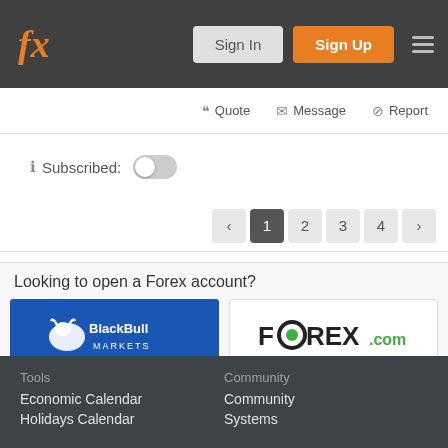fx Sign In Sign Up
Quote Message Report
Subscribed: [toggle off]
< 1 2 3 4 >
Looking to open a Forex account?
[Figure (logo): BlackBull Markets logo - white bull on blue background with text BlackBull MARKETS]
Open Live
[Figure (logo): FOREX.com logo - green and black text on white background]
Open Live
Tools
Economic Calendar
Holidays Calendar
Community
Community
Systems